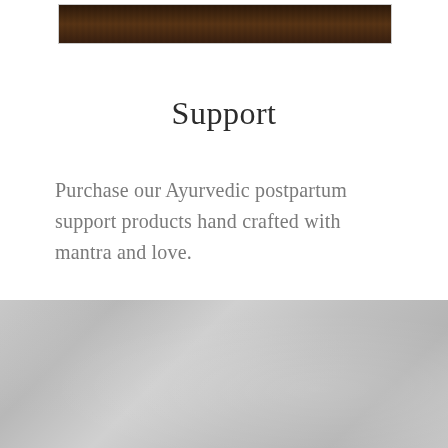[Figure (photo): Partial view of a dark brown textured surface, cropped at top of page]
Support
Purchase our Ayurvedic postpartum support products hand crafted with mantra and love.
[Figure (photo): Gray toned image at bottom of page, muted light gray background]